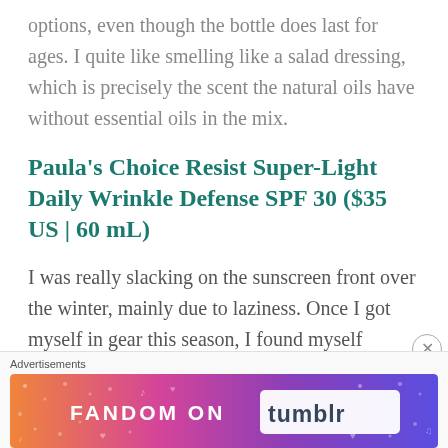options, even though the bottle does last for ages. I quite like smelling like a salad dressing, which is precisely the scent the natural oils have without essential oils in the mix.
Paula's Choice Resist Super-Light Daily Wrinkle Defense SPF 30 ($35 US | 60 mL)
I was really slacking on the sunscreen front over the winter, mainly due to laziness. Once I got myself in gear this season, I found myself finishing a tube of the semi-matte finish tinted sunscreen
Advertisements
[Figure (other): Fandom on Tumblr advertisement banner with colorful gradient background in orange, purple, and blue with decorative hearts and music notes pattern]